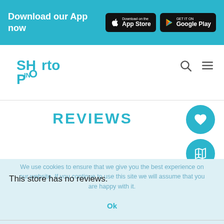Download our App now
[Figure (logo): Shop in Porto logo — teal stylized text]
[Figure (screenshot): Search icon and hamburger menu icon in navigation bar]
REVIEWS
[Figure (illustration): Teal circular button with white heart icon]
[Figure (illustration): Teal circular button with white map/guide icon]
We use cookies to ensure that we give you the best experience on our website. If you continue to use this site we will assume that you are happy with it.
This store has no reviews.
Ok